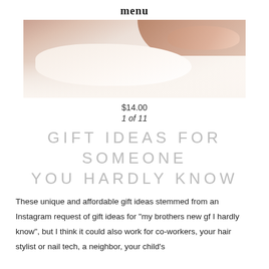menu
[Figure (photo): Close-up photo of a hand holding or touching a white/cream ceramic plate or bowl, soft warm tones]
$14.00
1 of 11
GIFT IDEAS FOR SOMEONE YOU HARDLY KNOW
These unique and affordable gift ideas stemmed from an Instagram request of gift ideas for “my brothers new gf I hardly know”, but I think it could also work for co-workers, your hair stylist or nail tech, a neighbor, your child’s